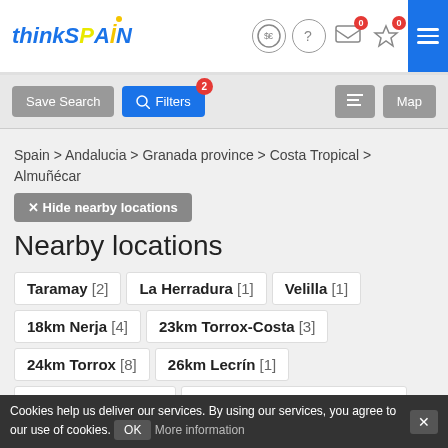thinkSPAIN
Save Search | Filters (2) | Map
Spain > Andalucia > Granada province > Costa Tropical > Almuñécar
× Hide nearby locations
Nearby locations
Taramay [2]
La Herradura [1]
Velilla [1]
18km Nerja [4]
23km Torrox-Costa [3]
24km Torrox [8]
26km Lecrín [1]
27km Cómpeta [32]
29km Canillas de Albaida [5]
29km Archez [1]
30km Sayalonga [6]
30km Corumbela [1]
Cookies help us deliver our services. By using our services, you agree to our use of cookies. OK More information